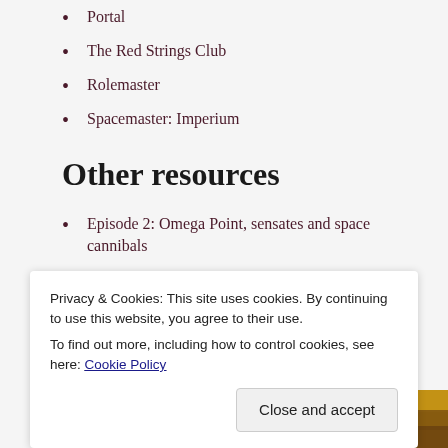Portal
The Red Strings Club
Rolemaster
Spacemaster: Imperium
Other resources
Episode 2: Omega Point, sensates and space cannibals
Episode 7: The Politics of Superheroes Pt 1
Episode 8: The Politics of Superheroes Pt 2
[Figure (photo): A blurred warm-toned background photo strip, brown and golden tones]
Privacy & Cookies: This site uses cookies. By continuing to use this website, you agree to their use.
To find out more, including how to control cookies, see here: Cookie Policy